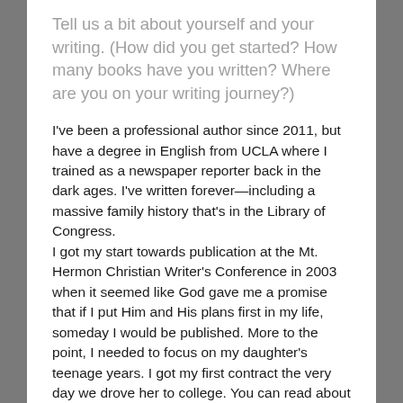Tell us a bit about yourself and your writing. (How did you get started? How many books have you written? Where are you on your writing journey?)
I've been a professional author since 2011, but have a degree in English from UCLA where I trained as a newspaper reporter back in the dark ages. I've written forever—including a massive family history that's in the Library of Congress. I got my start towards publication at the Mt. Hermon Christian Writer's Conference in 2003 when it seemed like God gave me a promise that if I put Him and His plans first in my life, someday I would be published. More to the point, I needed to focus on my daughter's teenage years. I got my first contract the very day we drove her to college. You can read about that here: http://www.booksandsuch.com/blog/dreams-come-